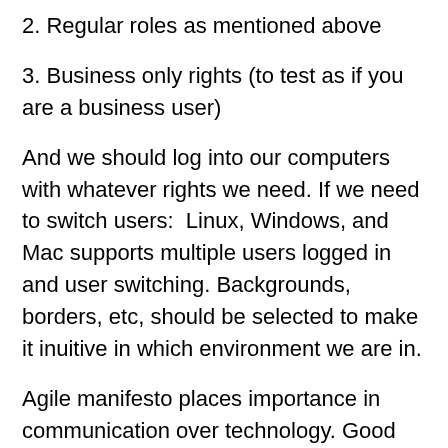2. Regular roles as mentioned above
3. Business only rights (to test as if you are a business user)
And we should log into our computers with whatever rights we need. If we need to switch users:  Linux, Windows, and Mac supports multiple users logged in and user switching. Backgrounds, borders, etc, should be selected to make it inuitive in which environment we are in.
Agile manifesto places importance in communication over technology. Good communication / certifications should be rewarded with #1 having more permissions (via requests and consideration). Bad communication (over, under, or non-relevant communication) should result in less permissions for #1. Length of employment is